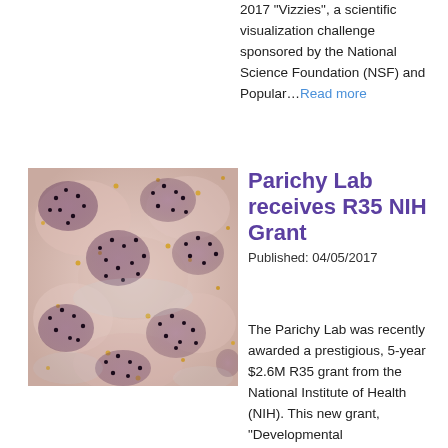2017 "Vizzies", a scientific visualization challenge sponsored by the National Science Foundation (NSF) and Popular...Read more
[Figure (photo): Close-up microscopy or macro photograph of fish skin showing a pattern of dark spots (melanophores) and yellow/gold pigment cells against pale pink/purple background tissue.]
Parichy Lab receives R35 NIH Grant
Published: 04/05/2017
The Parichy Lab was recently awarded a prestigious, 5-year $2.6M R35 grant from the National Institute of Health (NIH). This new grant, "Developmental...